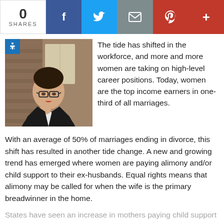0 SHARES [Facebook] [Twitter] [Email] [Pinterest] [+]
[Figure (photo): Professional woman in business suit with glasses, holding her chin thoughtfully, brown hair in a bun, in an office setting]
The tide has shifted in the workforce, and more and more women are taking on high-level career positions. Today, women are the top income earners in one-third of all marriages.
With an average of 50% of marriages ending in divorce, this shift has resulted in another tide change. A new and growing trend has emerged where women are paying alimony and/or child support to their ex-husbands. Equal rights means that alimony may be called for when the wife is the primary breadwinner in the home.
States have seen an increase in mothers paying child support in the
[Figure (infographic): Advertisement banner: Fairfax Top-Rated Divorce Lawyer. Thoughtful · Thorough · Trusted. WM logo on right side.]